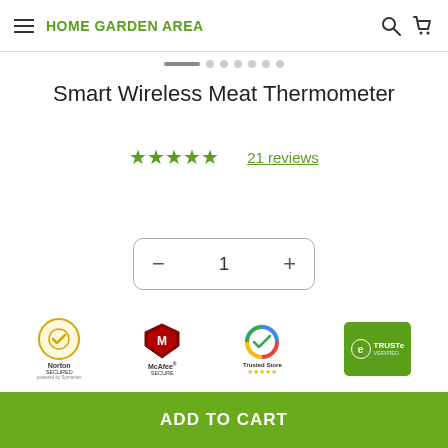HOME GARDEN AREA
[Figure (other): Carousel pagination dots — one active (dark), six inactive (light gray)]
Smart Wireless Meat Thermometer
★★★★★ 21 reviews
[Figure (other): Quantity selector with minus button, number 1, plus button inside rounded rectangle border]
[Figure (other): Trust badges: Norton Secured powered by Symantec, McAfee Secure, Google Trusted Store, TRUSTe Verified]
View Cart →
ADD TO CART